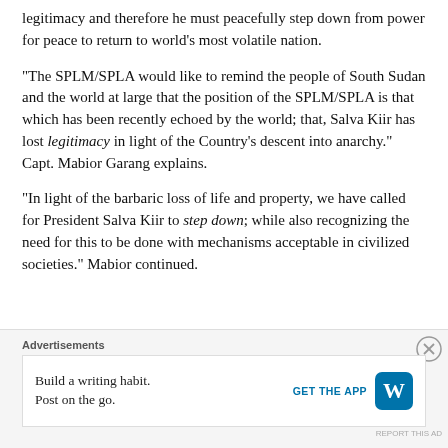legitimacy and therefore he must peacefully step down from power for peace to return to world’s most violate nation.
“The SPLM/SPLA would like to remind the people of South Sudan and the world at large that the position of the SPLM/SPLA is that which has been recently echoed by the world; that, Salva Kiir has lost legitimacy in light of the Country’s descent into anarchy.” Capt. Mabior Garang explains.
“In light of the barbaric loss of life and property, we have called for President Salva Kiir to step down; while also recognizing the need for this to be done with mechanisms acceptable in civilized societies.” Mabior continued.
[Figure (infographic): Advertisement banner: Build a writing habit. Post on the go. GET THE APP with WordPress logo icon.]